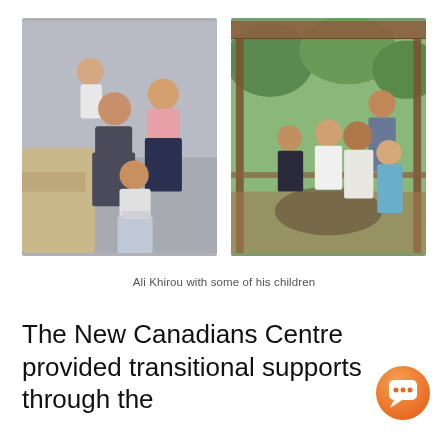[Figure (photo): Two family photos side by side. Left: indoor photo of a man with children sitting on a sofa, muted blue-grey background. Right: outdoor photo of a larger family group sitting under a gazebo surrounded by green trees.]
Ali Khirou with some of his children
The New Canadians Centre provided transitional supports through the